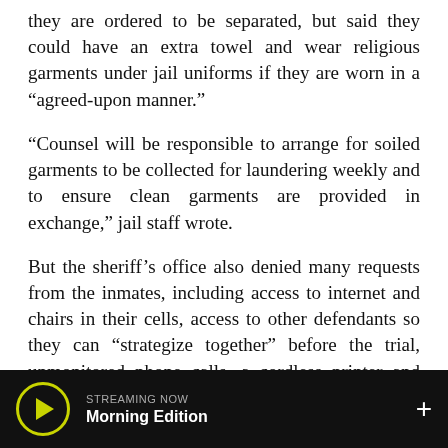they are ordered to be separated, but said they could have an extra towel and wear religious garments under jail uniforms if they are worn in a “agreed-upon manner.”
“Counsel will be responsible to arrange for soiled garments to be collected for laundering weekly and to ensure clean garments are provided in exchange,” jail staff wrote.
But the sheriff’s office also denied many requests from the inmates, including access to internet and chairs in their cells, access to other defendants so they can “strategize together” before the trial, unmonitored phone calls, a cordless printer and scanner, more storage space in jail cells, and “real pens.”
STREAMING NOW
Morning Edition